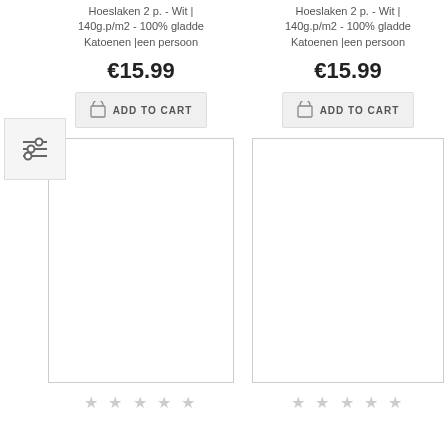[Figure (other): Filter/sort button with three horizontal slider lines icon]
Hoeslaken 2 p. - Wit | 140g.p/m2 - 100% gladde Katoenen |een persoon
€15.99
ADD TO CART
[Figure (other): Product image placeholder (white rectangle with border)]
★ ★ ★ ★ ★
Hoeslaken 2 p. - Wit | 140g.p/m2 - 100% gladde Katoenen |een persoon
€15.99
ADD TO CART
[Figure (other): Product image placeholder (white rectangle with border)]
★ ★ ★ ★ ★